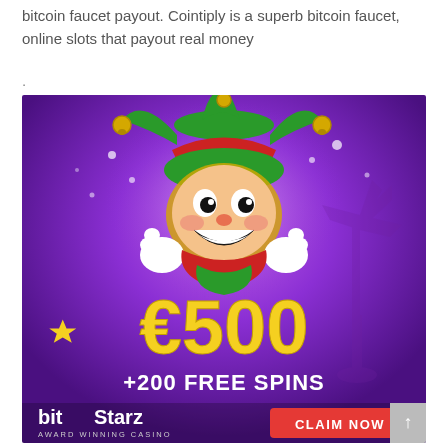bitcoin faucet payout. Cointiply is a superb bitcoin faucet, online slots that payout real money
.
[Figure (illustration): BitStarz casino advertisement banner with purple background, cartoon jester character, €500 bonus offer, +200 Free Spins, BitStarz Award Winning Casino logo, and CLAIM NOW red button.]